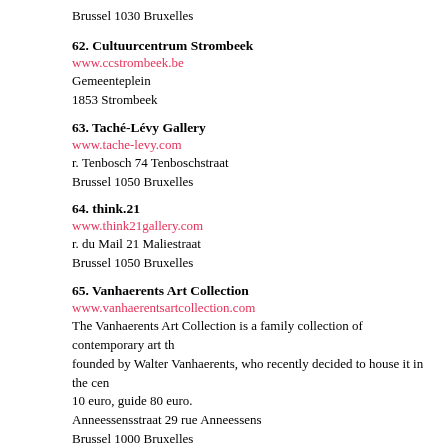Brussel 1030 Bruxelles
62. Cultuurcentrum Strombeek
www.ccstrombeek.be
Gemeenteplein
1853 Strombeek
63. Taché-Lévy Gallery
www.tache-levy.com
r. Tenbosch 74 Tenboschstraat
Brussel 1050 Bruxelles
64. think.21
www.think21gallery.com
r. du Mail 21 Maliestraat
Brussel 1050 Bruxelles
65. Vanhaerents Art Collection
www.vanhaerentsartcollection.com
The Vanhaerents Art Collection is a family collection of contemporary art th founded by Walter Vanhaerents, who recently decided to house it in the cen 10 euro, guide 80 euro.
Anneessensstraat 29 rue Anneessens
Brussel 1000 Bruxelles